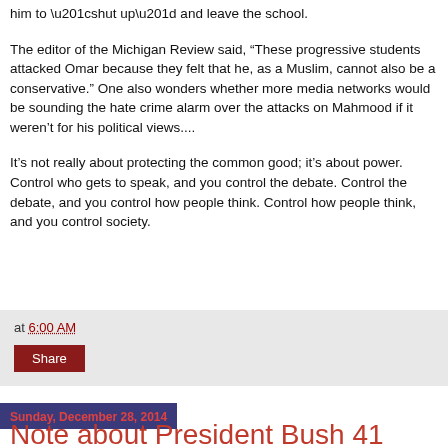him to “shut up” and leave the school.
The editor of the Michigan Review said, “These progressive students attacked Omar because they felt that he, as a Muslim, cannot also be a conservative.” One also wonders whether more media networks would be sounding the hate crime alarm over the attacks on Mahmood if it weren’t for his political views....
It’s not really about protecting the common good; it’s about power. Control who gets to speak, and you control the debate. Control the debate, and you control how people think. Control how people think, and you control society.
at 6:00 AM
Share
Sunday, December 28, 2014
Note about President Bush 41